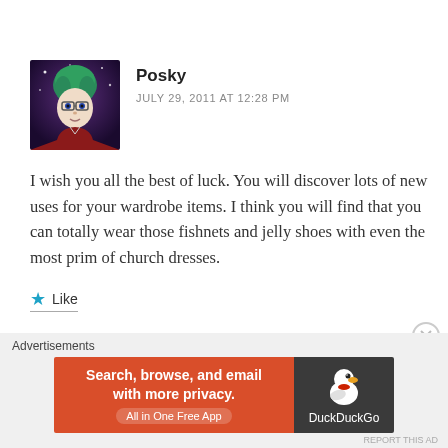[Figure (illustration): Avatar image of Posky: illustrated character with green hair, glasses, and dark background with stars]
Posky
JULY 29, 2011 AT 12:28 PM
I wish you all the best of luck. You will discover lots of new uses for your wardrobe items. I think you will find that you can totally wear those fishnets and jelly shoes with even the most prim of church dresses.
Like
Advertisements
[Figure (screenshot): DuckDuckGo advertisement banner: orange left panel with text 'Search, browse, and email with more privacy. All in One Free App', dark right panel with DuckDuckGo logo and duck icon]